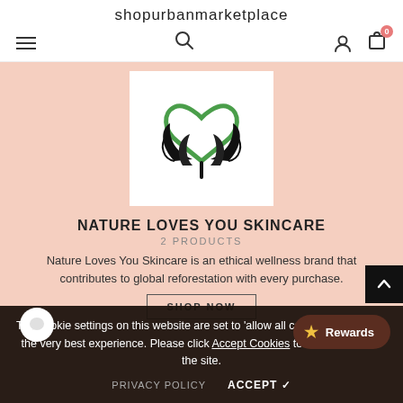shopurbanmarketplace
[Figure (logo): Nature Loves You Skincare logo: green heart outline with black leaf/plant shapes below, on white background]
NATURE LOVES YOU SKINCARE
2 PRODUCTS
Nature Loves You Skincare is an ethical wellness brand that contributes to global reforestation with every purchase.
The cookie settings on this website are set to 'allow all cookies' to give you the very best experience. Please click Accept Cookies to continue to use the site.
PRIVACY POLICY   ACCEPT ✓